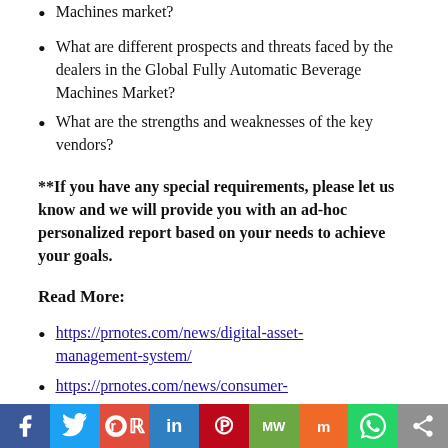Machines market?
What are different prospects and threats faced by the dealers in the Global Fully Automatic Beverage Machines Market?
What are the strengths and weaknesses of the key vendors?
**If you have any special requirements, please let us know and we will provide you with an ad-hoc personalized report based on your needs to achieve your goals.
Read More:
https://prnotes.com/news/digital-asset-management-system/
https://prnotes.com/news/consumer-